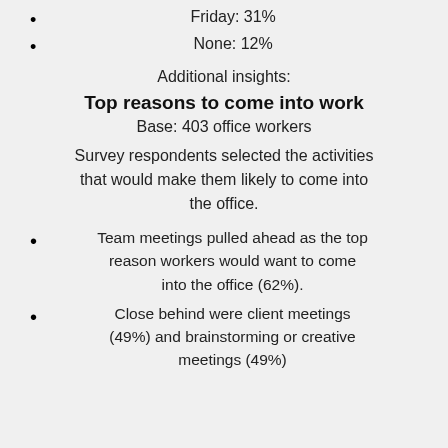Friday: 31%
None: 12%
Additional insights:
Top reasons to come into work
Base: 403 office workers
Survey respondents selected the activities that would make them likely to come into the office.
Team meetings pulled ahead as the top reason workers would want to come into the office (62%).
Close behind were client meetings (49%) and brainstorming or creative meetings (49%).